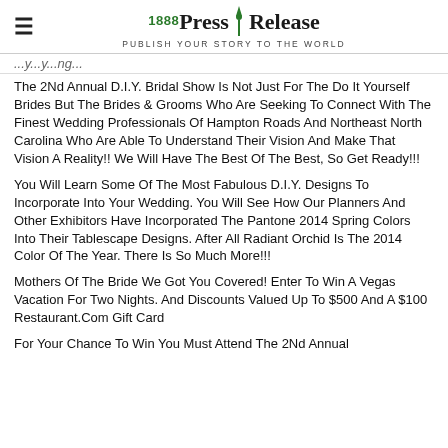[Figure (logo): 1888 PressRelease logo with green pen icon and tagline PUBLISH YOUR STORY TO THE WORLD]
...ry...ry...ng...
The 2Nd Annual D.I.Y. Bridal Show Is Not Just For The Do It Yourself Brides But The Brides & Grooms Who Are Seeking To Connect With The Finest Wedding Professionals Of Hampton Roads And Northeast North Carolina Who Are Able To Understand Their Vision And Make That Vision A Reality!! We Will Have The Best Of The Best, So Get Ready!!!
You Will Learn Some Of The Most Fabulous D.I.Y. Designs To Incorporate Into Your Wedding. You Will See How Our Planners And Other Exhibitors Have Incorporated The Pantone 2014 Spring Colors Into Their Tablescape Designs. After All Radiant Orchid Is The 2014 Color Of The Year. There Is So Much More!!!
Mothers Of The Bride We Got You Covered! Enter To Win A Vegas Vacation For Two Nights. And Discounts Valued Up To $500 And A $100 Restaurant.Com Gift Card
For Your Chance To Win You Must Attend The 2Nd Annual